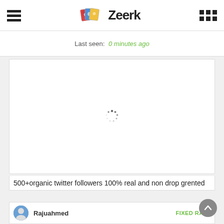Zeerk
Last seen: 0 minutes ago
[Figure (other): Loading spinner / content loading area with animated dots in a white card]
500+organic twitter followers 100% real and non drop grented
Rajuahmed   FIXED RATE